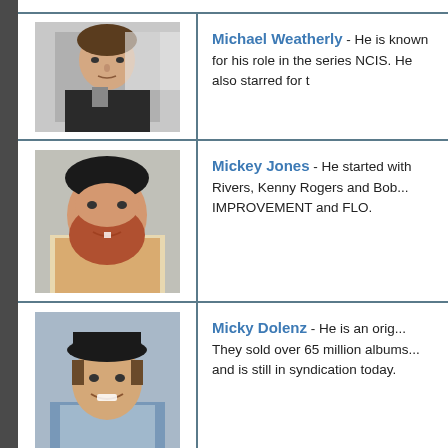[Figure (photo): Photo of Michael Weatherly, a man in a dark jacket]
Michael Weatherly - He is known for his role in the series NCIS. He also starred for t...
[Figure (photo): Photo of Mickey Jones, a large bearded man smiling]
Mickey Jones - He started with Rivers, Kenny Rogers and Bob... IMPROVEMENT and FLO.
[Figure (photo): Photo of Micky Dolenz, a man in a black hat smiling]
Micky Dolenz - He is an original... They sold over 65 million albums... and is still in syndication today.
[Figure (photo): Partial photo at bottom of page]